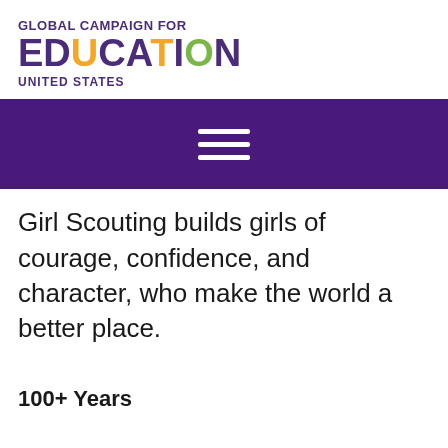GLOBAL CAMPAIGN FOR EDUCATION UNITED STATES
[Figure (other): Navigation bar with hamburger menu icon (three white horizontal lines) on dark purple background]
Girl Scouting builds girls of courage, confidence, and character, who make the world a better place.
100+ Years
Founder Juliette Gordon Low organized the